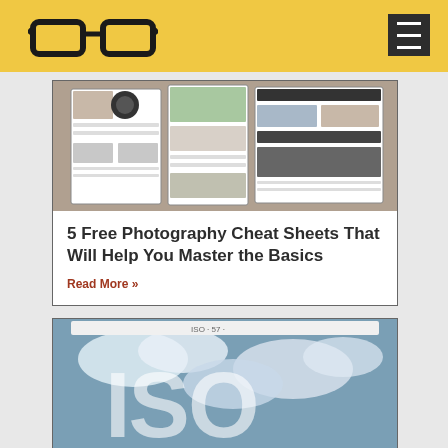Photography blog header with glasses logo and hamburger menu
[Figure (screenshot): Photography cheat sheets collage showing multiple infographic sheets with photos and camera settings]
5 Free Photography Cheat Sheets That Will Help You Master the Basics
Read More »
[Figure (screenshot): ISO photography guide showing large ISO text over cloudy sky background, displayed on a tablet or webpage]